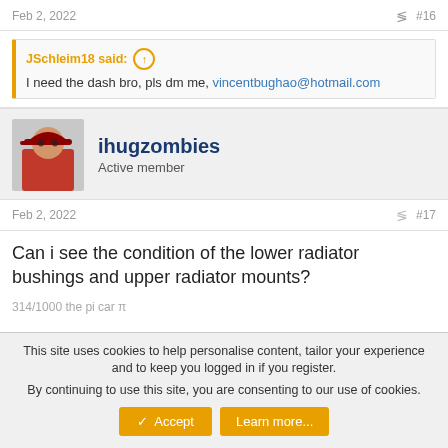Feb 2, 2022  #16
JSchleim18 said: ↑
I need the dash bro, pls dm me, vincentbughao@hotmail.com
ihugzombies
Active member
Feb 2, 2022  #17
Can i see the condition of the lower radiator bushings and upper radiator mounts?
314/1000 the pi car π
This site uses cookies to help personalise content, tailor your experience and to keep you logged in if you register.
By continuing to use this site, you are consenting to our use of cookies.